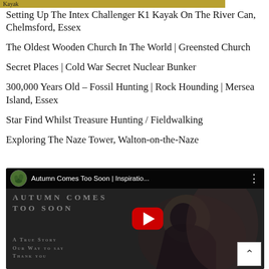Kayak
Setting Up The Intex Challenger K1 Kayak On The River Can, Chelmsford, Essex
The Oldest Wooden Church In The World | Greensted Church
Secret Places | Cold War Secret Nuclear Bunker
300,000 Years Old – Fossil Hunting | Rock Hounding | Mersea Island, Essex
Star Find Whilst Treasure Hunting / Fieldwalking
Exploring The Naze Tower, Walton-on-the-Naze
[Figure (screenshot): YouTube video embed showing 'Autumn Comes Too Soon | Inspiratio...' with a play button, video thumbnail showing a child, and overlay text 'AUTUMN COMES TOO SOON' and 'A True Story Our Way to Say Thank You']